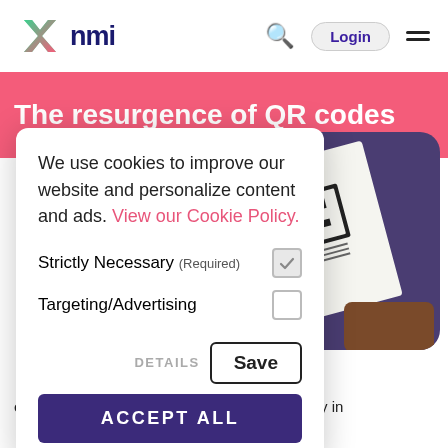[Figure (logo): NMI logo with green/pink X icon and dark blue 'nmi' text]
The resurgence of QR codes
[Figure (screenshot): Cookie consent modal overlay on NMI website showing options for Strictly Necessary (Required) and Targeting/Advertising with DETAILS, Save, and ACCEPT ALL buttons]
ed how customers shop is QR code technology in the